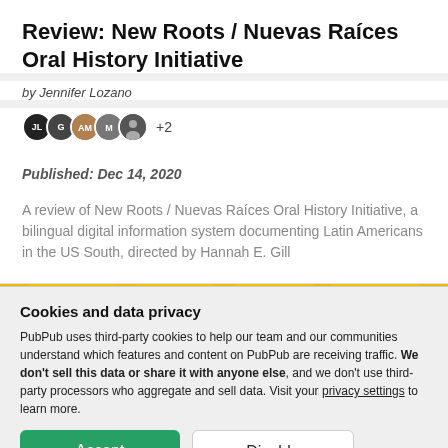Review: New Roots / Nuevas Raíces Oral History Initiative
by Jennifer Lozano
[Figure (other): Row of user avatar icons with initials JL, G, AM, M, and a silhouette, followed by '+2' text]
Published: Dec 14, 2020
A review of New Roots / Nuevas Raíces Oral History Initiative, a bilingual digital information system documenting Latin Americans in the US South, directed by Hannah E. Gill
[Figure (illustration): Yellow sunburst background with dark bird/logo shapes — partial view of New Roots / Nuevas Raíces website header]
Cookies and data privacy
PubPub uses third-party cookies to help our team and our communities understand which features and content on PubPub are receiving traffic. We don't sell this data or share it with anyone else, and we don't use third-party processors who aggregate and sell data. Visit your privacy settings to learn more.
Accept
Disable